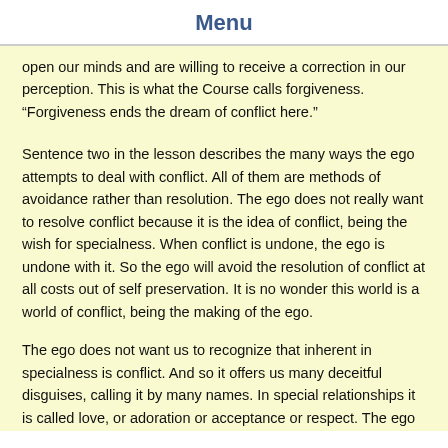Menu
open our minds and are willing to receive a correction in our perception. This is what the Course calls forgiveness. “Forgiveness ends the dream of conflict here.”
Sentence two in the lesson describes the many ways the ego attempts to deal with conflict. All of them are methods of avoidance rather than resolution. The ego does not really want to resolve conflict because it is the idea of conflict, being the wish for specialness. When conflict is undone, the ego is undone with it. So the ego will avoid the resolution of conflict at all costs out of self preservation. It is no wonder this world is a world of conflict, being the making of the ego.
The ego does not want us to recognize that inherent in specialness is conflict. And so it offers us many deceitful disguises, calling it by many names. In special relationships it is called love, or adoration or acceptance or respect. The ego gives hidden meaning to these terms. With the ego’s meaning of love there is always a hidden agenda. It says, “I will know you love me if you …” which is followed by a long list of